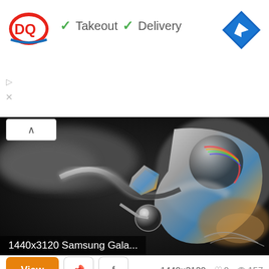[Figure (screenshot): Dairy Queen (DQ) advertisement banner with logo, checkmarks for Takeout and Delivery, and a blue navigation arrow icon]
[Figure (photo): Close-up macro photograph of metallic liquid droplets and reflective chrome-like shapes against a dark black background, labeled '1440x3120 Samsung Gala...']
1440×3120  ♡ 0  👁 157
View